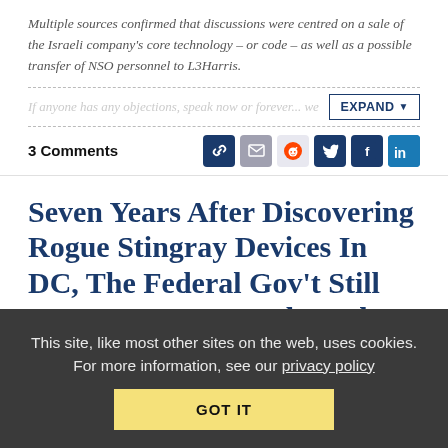Multiple sources confirmed that discussions were centred on a sale of the Israeli company's core technology – or code – as well as a possible transfer of NSO personnel to L3Harris.
If anyone has any objections, speak now or forever... we
3 Comments
Seven Years After Discovering Rogue Stingray Devices In DC, The Federal Gov't Still Doesn't Have Any Idea What To Do About It
This site, like most other sites on the web, uses cookies. For more information, see our privacy policy GOT IT